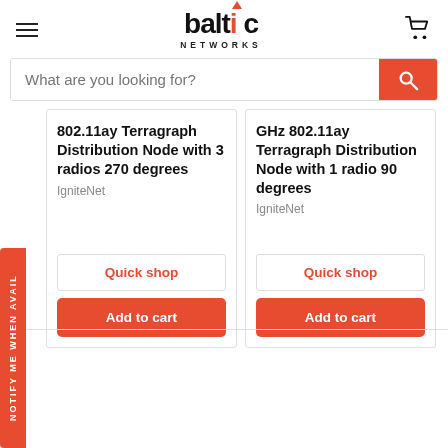baltic NETWORKS
What are you looking for?
802.11ay Terragraph Distribution Node with 3 radios 270 degrees
IgniteNet
Quick shop
Add to cart
GHz 802.11ay Terragraph Distribution Node with 1 radio 90 degrees
IgniteNet
Quick shop
Add to cart
NOTIFY ME WHEN AVAIL